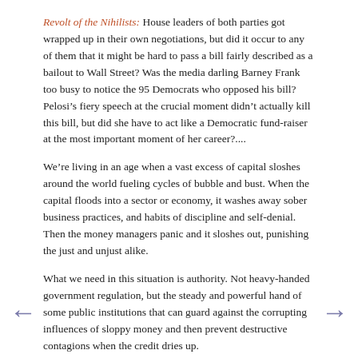Revolt of the Nihilists: House leaders of both parties got wrapped up in their own negotiations, but did it occur to any of them that it might be hard to pass a bill fairly described as a bailout to Wall Street? Was the media darling Barney Frank too busy to notice the 95 Democrats who opposed his bill? Pelosi’s fiery speech at the crucial moment didn’t actually kill this bill, but did she have to act like a Democratic fund-raiser at the most important moment of her career?....
We’re living in an age when a vast excess of capital sloshes around the world fueling cycles of bubble and bust. When the capital floods into a sector or economy, it washes away sober business practices, and habits of discipline and self-denial. Then the money managers panic and it sloshes out, punishing the just and unjust alike.
What we need in this situation is authority. Not heavy-handed government regulation, but the steady and powerful hand of some public institutions that can guard against the corrupting influences of sloppy money and then prevent destructive contagions when the credit dries up.
The Congressional plan was nobody’s darling, but it was an effort to assert some authority. It was an effort to alter the psychology of the markets. People do not at the